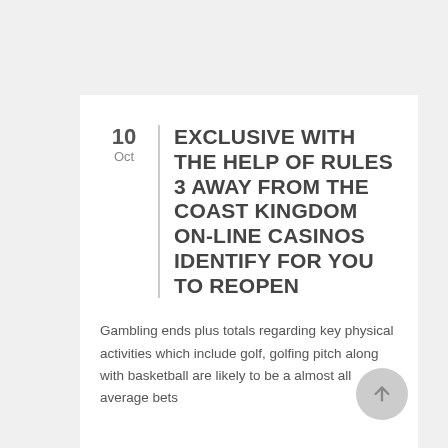EXCLUSIVE WITH THE HELP OF RULES 3 AWAY FROM THE COAST KINGDOM ON-LINE CASINOS IDENTIFY FOR YOU TO REOPEN
Gambling ends plus totals regarding key physical activities which include golf, golfing pitch along with basketball are likely to be a almost all average bets